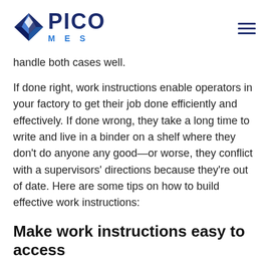PICO MES
handle both cases well.
If done right, work instructions enable operators in your factory to get their job done efficiently and effectively. If done wrong, they take a long time to write and live in a binder on a shelf where they don’t do anyone any good—or worse, they conflict with a supervisors’ directions because they’re out of date. Here are some tips on how to build effective work instructions:
Make work instructions easy to access